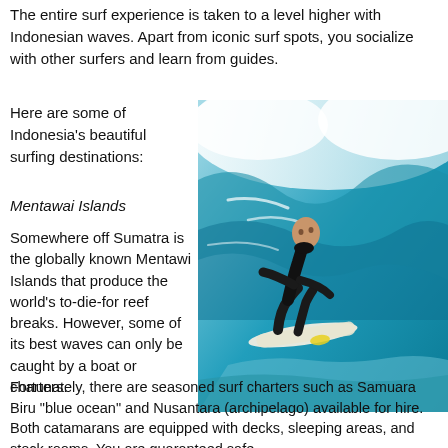The entire surf experience is taken to a level higher with Indonesian waves. Apart from iconic surf spots, you socialize with other surfers and learn from guides.
Here are some of Indonesia's beautiful surfing destinations:
Mentawai Islands
Somewhere off Sumatra is the globally known Mentawi Islands that produce the world's to-die-for reef breaks. However, some of its best waves can only be caught by a boat or charters.
[Figure (photo): A surfer in a black wetsuit riding a large wave, crouching on a white surfboard against a turquoise wave background.]
Fortunately, there are seasoned surf charters such as Samuara Biru “blue ocean” and Nusantara (archipelago) available for hire. Both catamarans are equipped with decks, sleeping areas, and stock rooms. You are guaranteed safe.